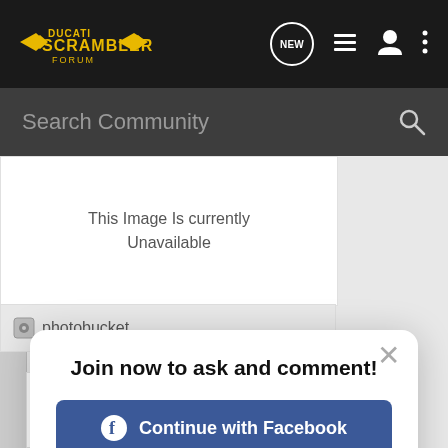Ducati Scrambler Forum
Search Community
[Figure (screenshot): Photobucket image unavailable placeholder showing 'This Image Is currently Unavailable' with photobucket logo]
Join now to ask and comment!
Continue with Facebook
Continue with Google
or sign up with email
Sorry.
This Image Is currently